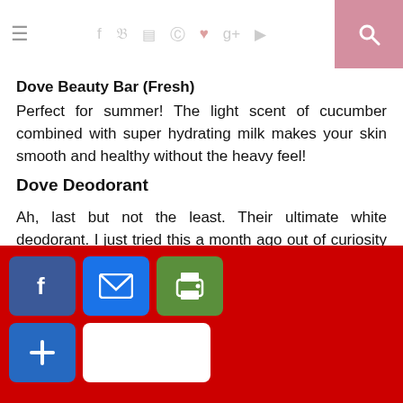Navigation header with hamburger menu, social icons (f, twitter, instagram, pinterest, heart, g+, youtube), and search button
Dove Beauty Bar (Fresh)
Perfect for summer! The light scent of cucumber combined with super hydrating milk makes your skin smooth and healthy without the heavy feel!
Dove Deodorant
Ah, last but not the least. Their ultimate white deodorant. I just tried this a month ago out of curiosity and I don't regret it. Most deodorants I have tried were never perfect. One could be effective in whitening but does not have enough odor protection. Or the other might leave stains, or still makes you sweat and sticky. But Dove's Ultimate White Deodorant is perfect. And it really helps lift the stubborn spots and ingrown things in my underarms. Before, my pits are never perfect and I can't make them look white and smooth r treatments
[Figure (other): Social sharing overlay bar at bottom of screen with red background, showing Facebook (blue), email (blue), print (green) buttons in top row, and a plus/add button (blue) with a white blank button in bottom row]